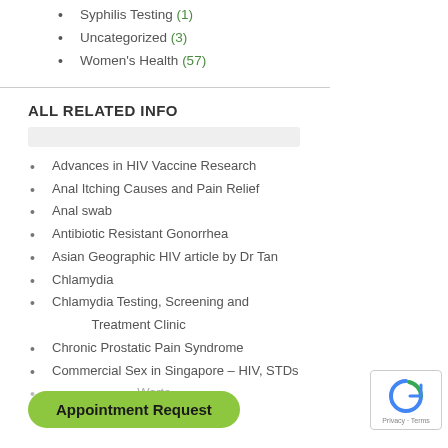Syphilis Testing (1)
Uncategorized (3)
Women's Health (57)
ALL RELATED INFO
Advances in HIV Vaccine Research
Anal Itching Causes and Pain Relief
Anal swab
Antibiotic Resistant Gonorrhea
Asian Geographic HIV article by Dr Tan
Chlamydia
Chlamydia Testing, Screening and Treatment Clinic
Chronic Prostatic Pain Syndrome
Commercial Sex in Singapore – HIV, STDs
Appointment Request
… – Warts